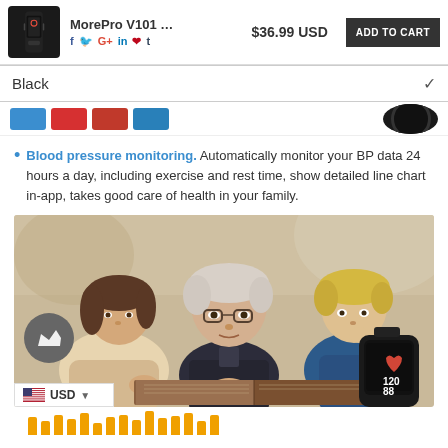MorePro V101 ... $36.99 USD ADD TO CART
Black
Blood pressure monitoring. Automatically monitor your BP data 24 hours a day, including exercise and rest time, show detailed line chart in-app, takes good care of health in your family.
[Figure (photo): Grandfather with glasses reading a book with two young grandchildren, a smartwatch visible at bottom right showing blood pressure readings 120/88]
USD